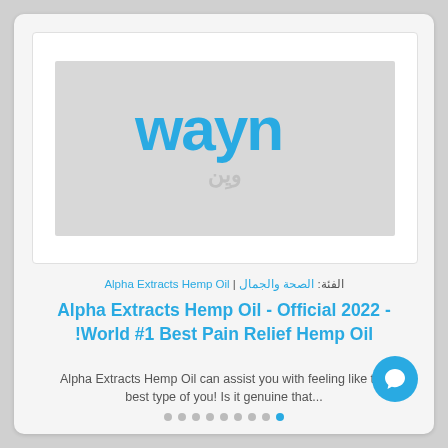[Figure (logo): WAYN logo — stylized blue Latin text 'wayn' with Arabic script beneath, on a light gray background]
الفئة: الصحة والجمال | Alpha Extracts Hemp Oil
Alpha Extracts Hemp Oil - Official 2022 - World #1 Best Pain Relief Hemp Oil!
Alpha Extracts Hemp Oil can assist you with feeling like the best type of you! Is it genuine that...